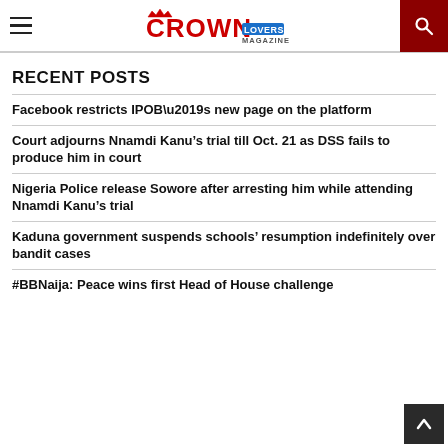CROWN Lovers Magazine
RECENT POSTS
Facebook restricts IPOB’s new page on the platform
Court adjourns Nnamdi Kanu’s trial till Oct. 21 as DSS fails to produce him in court
Nigeria Police release Sowore after arresting him while attending Nnamdi Kanu’s trial
Kaduna government suspends schools’ resumption indefinitely over bandit cases
#BBNaija: Peace wins first Head of House challenge